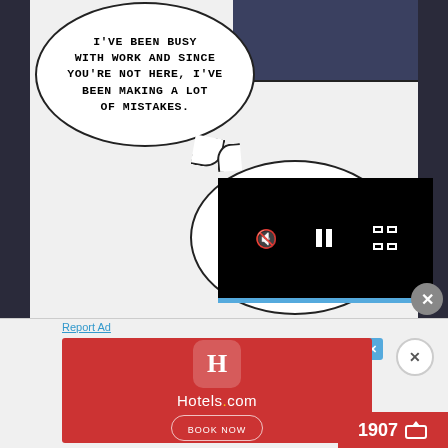[Figure (illustration): Comic panel with two speech bubbles. First bubble text: I'VE BEEN BUSY WITH WORK AND SINCE YOU'RE NOT HERE, I'VE BEEN MAKING A LOT OF MISTAKES. Second bubble: BECAUSE OF IT, I'M DOING A LOT MORE WORK THAN USUAL, IT'S CERTAINLY A VICIOUS CYCLE.]
[Figure (screenshot): Video player overlay showing mute, pause, and fullscreen icons on black background with a light blue progress bar.]
Report Ad
[Figure (photo): Hotels.com advertisement banner in red with hotel icon and book now button.]